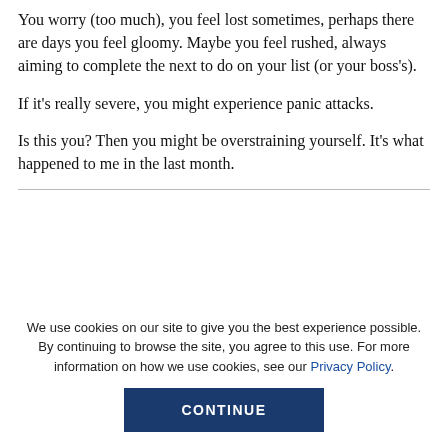You worry (too much), you feel lost sometimes, perhaps there are days you feel gloomy. Maybe you feel rushed, always aiming to complete the next to do on your list (or your boss's).
If it's really severe, you might experience panic attacks.
Is this you? Then you might be overstraining yourself. It's what happened to me in the last month.
We use cookies on our site to give you the best experience possible. By continuing to browse the site, you agree to this use. For more information on how we use cookies, see our Privacy Policy.